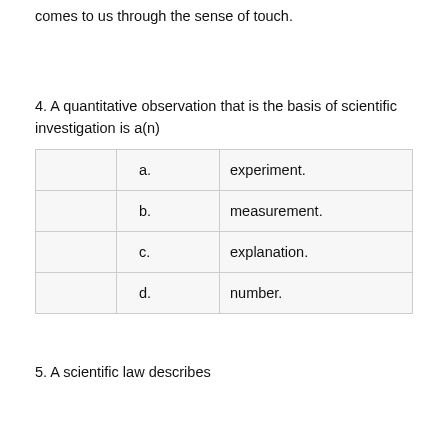comes to us through the sense of touch.
4. A quantitative observation that is the basis of scientific investigation is a(n)
|  | a. | experiment. |
|  | b. | measurement. |
|  | c. | explanation. |
|  | d. | number. |
5. A scientific law describes